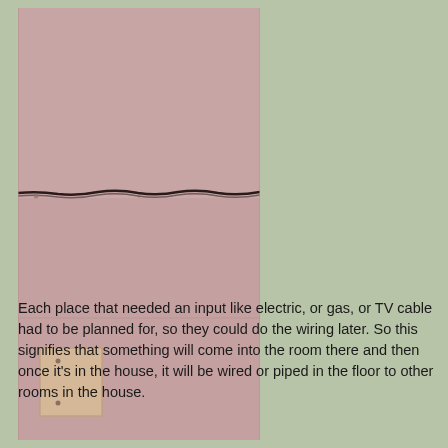[Figure (photo): Photo of a wall with drywall panels showing seams and a horizontal crack/gap across the middle. A small square electrical/utility box cover plate is visible in the lower left area of the wall.]
Each place that needed an input like electric, or gas, or TV cable had to be planned for, so they could do the wiring later.  So this signifies that something will come into the room there and then once it's in the house, it will be wired or piped in the floor to other rooms in the house.